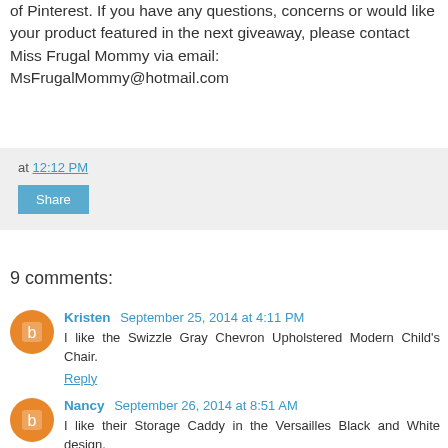of Pinterest. If you have any questions, concerns or would like your product featured in the next giveaway, please contact Miss Frugal Mommy via email: MsFrugalMommy@hotmail.com
at 12:12 PM
Share
9 comments:
Kristen September 25, 2014 at 4:11 PM
I like the Swizzle Gray Chevron Upholstered Modern Child's Chair.
Reply
Nancy September 26, 2014 at 8:51 AM
I like their Storage Caddy in the Versailles Black and White design.